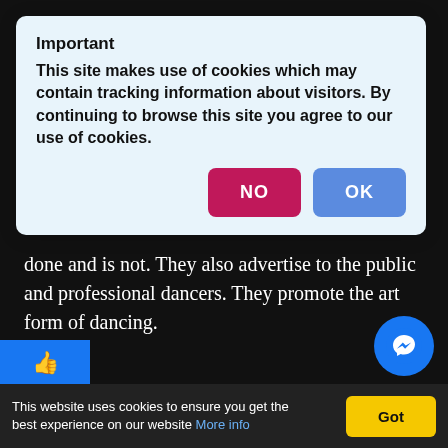done and is not. They also advertise to the public and professional dancers. They promote the art form of dancing.
LATED ARTICLES
Important
This site makes use of cookies which may contain tracking information about visitors. By continuing to browse this site you agree to our use of cookies.
This website uses cookies to ensure you get the best experience on our website More info